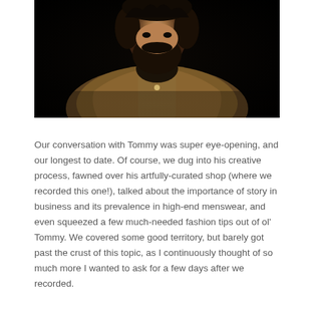[Figure (photo): A bearded man with curly hair wearing a tan/brown suede vest over a dark shirt, photographed against a dark background.]
Our conversation with Tommy was super eye-opening, and our longest to date. Of course, we dug into his creative process, fawned over his artfully-curated shop (where we recorded this one!), talked about the importance of story in business and its prevalence in high-end menswear, and even squeezed a few much-needed fashion tips out of ol' Tommy. We covered some good territory, but barely got past the crust of this topic, as I continuously thought of so much more I wanted to ask for a few days after we recorded.